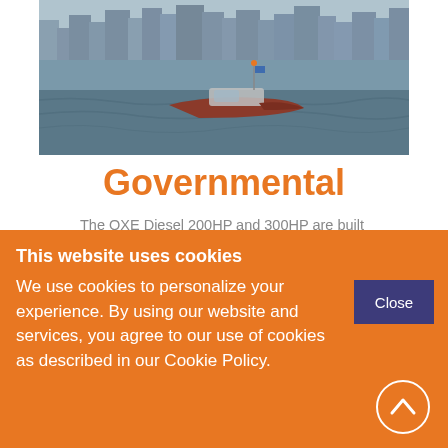[Figure (photo): A red/brown speedboat on water with a city skyline in the background]
Governmental
The OXE Diesel 200HP and 300HP are built specifically with governmental users in mind.
This website uses cookies
We use cookies to personalize your experience. By using our website and services, you agree to our use of cookies as described in our Cookie Policy.